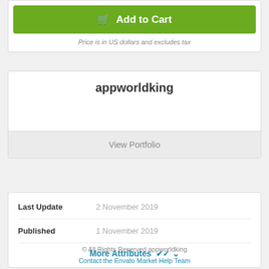Add to Cart
Price is in US dollars and excludes tax
appworldking
View Portfolio
| Last Update | 2 November 2019 |
| Published | 1 November 2019 |
More Attributes
© All Rights Reserved appworldking
Contact the Envato Market Help Team